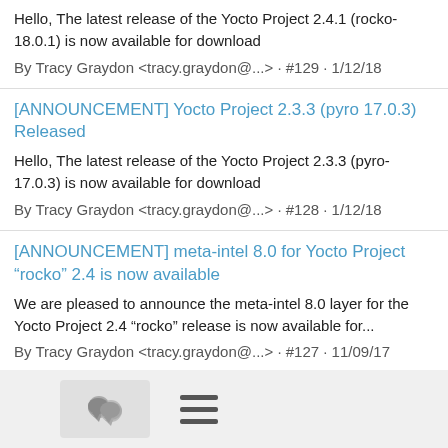Hello, The latest release of the Yocto Project 2.4.1 (rocko-18.0.1) is now available for download
By Tracy Graydon <tracy.graydon@...> · #129 · 1/12/18
[ANNOUNCEMENT] Yocto Project 2.3.3 (pyro 17.0.3) Released
Hello, The latest release of the Yocto Project 2.3.3 (pyro-17.0.3) is now available for download
By Tracy Graydon <tracy.graydon@...> · #128 · 1/12/18
[ANNOUNCEMENT] meta-intel 8.0 for Yocto Project "rocko" 2.4 is now available
We are pleased to announce the meta-intel 8.0 layer for the Yocto Project 2.4 "rocko" release is now available for...
By Tracy Graydon <tracy.graydon@...> · #127 · 11/09/17
[ANNOUNCEMENT] Yocto Project 2.4 (rocko 18.0.0) Released
Hello, The latest release of the Yocto Project 2.4 (rocko-18.0.0) is
[Figure (infographic): Footer navigation bar with a chat bubble icon button and a hamburger menu icon]